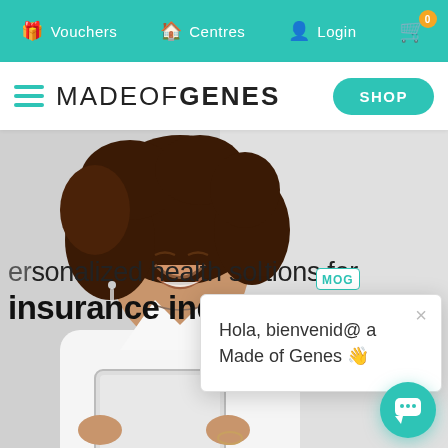Vouchers  Centres  Login
[Figure (logo): MadeOfGenes logo with hamburger menu and SHOP button]
[Figure (photo): Woman with curly hair smiling and looking at a tablet, wearing white shirt, on a light grey background]
personalized health solutions for insurance ind
[Figure (screenshot): Chat popup with MOG label showing 'Hola, bienvenid@ a Made of Genes' message with close button and teal chat button]